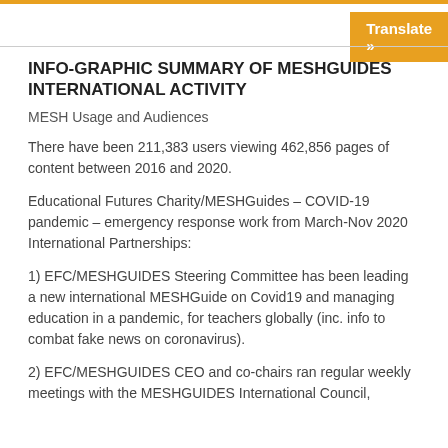Translate »
INFO-GRAPHIC SUMMARY OF MESHGUIDES INTERNATIONAL ACTIVITY
MESH Usage and Audiences
There have been 211,383 users viewing 462,856 pages of content between 2016 and 2020.
Educational Futures Charity/MESHGuides – COVID-19 pandemic – emergency response work from March-Nov 2020 International Partnerships:
1) EFC/MESHGUIDES Steering Committee has been leading a new international MESHGuide on Covid19 and managing education in a pandemic, for teachers globally (inc. info to combat fake news on coronavirus).
2) EFC/MESHGUIDES CEO and co-chairs ran regular weekly meetings with the MESHGUIDES International Council,